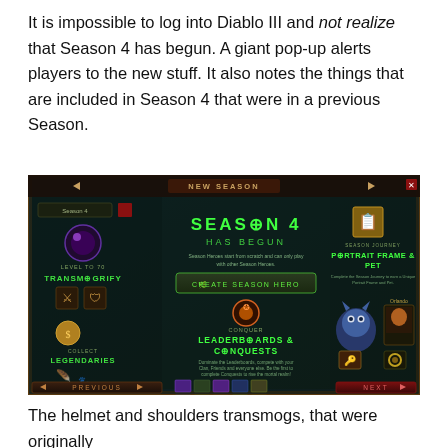It is impossible to log into Diablo III and not realize that Season 4 has begun. A giant pop-up alerts players to the new stuff. It also notes the things that are included in Season 4 that were in a previous Season.
[Figure (screenshot): Screenshot of Diablo III Season 4 pop-up window showing 'NEW SEASON' header, 'SEASON 4 HAS BEGUN' title, options including TRANSMOGRIFY, COLLECT LEGENDARIES, LEADERBOARDS & CONQUESTS, PORTRAIT FRAME & PET, and a CREATE SEASON HERO button on a dark fantasy background.]
The helmet and shoulders transmogs, that were originally